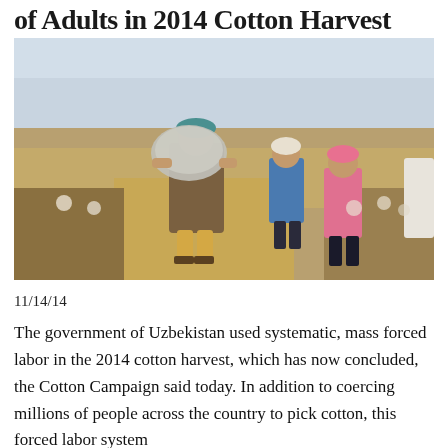of Adults in 2014 Cotton Harvest
[Figure (photo): Workers carrying large sacks in a cotton field in Uzbekistan. Several women wearing headscarves and colorful clothing are visible walking through the field.]
11/14/14
The government of Uzbekistan used systematic, mass forced labor in the 2014 cotton harvest, which has now concluded, the Cotton Campaign said today. In addition to coercing millions of people across the country to pick cotton, this forced labor system